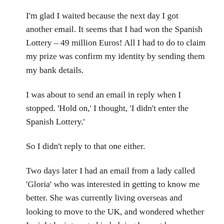I'm glad I waited because the next day I got another email. It seems that I had won the Spanish Lottery – 49 million Euros! All I had to do to claim my prize was confirm my identity by sending them my bank details.
'Hold on,' I thought, 'I didn't enter the Spanish Lottery.'
So I didn't reply to that one either.
Two days later I had an email from a lady called 'Gloria' who was interested in getting to know me better. She was currently living overseas and looking to move to the UK, and wondered whether I might be interested in helping her out by marrying her to make it possible for